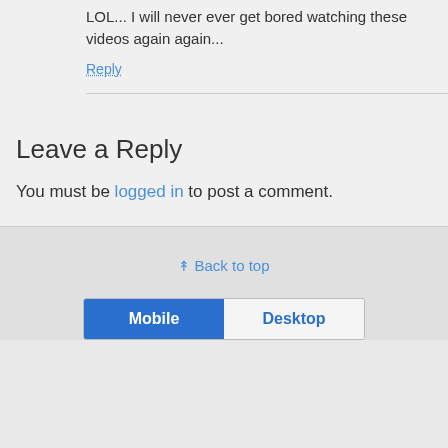LOL... I will never ever get bored watching these videos again again...
Reply
Leave a Reply
You must be logged in to post a comment.
Back to top
Mobile | Desktop